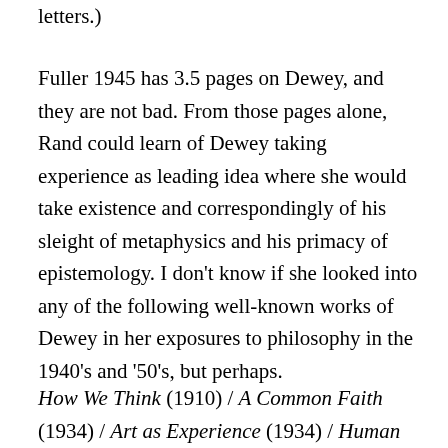letters.)
Fuller 1945 has 3.5 pages on Dewey, and they are not bad. From those pages alone, Rand could learn of Dewey taking experience as leading idea where she would take existence and correspondingly of his sleight of metaphysics and his primacy of epistemology. I don’t know if she looked into any of the following well-known works of Dewey in her exposures to philosophy in the 1940’s and ’50’s, but perhaps.
How We Think (1910) / A Common Faith (1934) / Art as Experience (1934) / Human Nature and Conduct